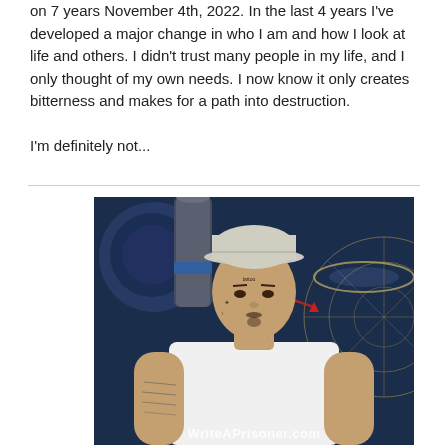on 7 years November 4th, 2022. In the last 4 years I've developed a major change in who I am and how I look at life and others. I didn't trust many people in my life, and I only thought of my own needs. I now know it only creates bitterness and makes for a path into destruction.

I'm definitely not...
[Figure (photo): Photograph of a man wearing a white t-shirt and gray baseball cap, with facial tattoos, standing in front of a colorful space-themed mural. A WriteAPrisoner.com watermark appears at the bottom.]